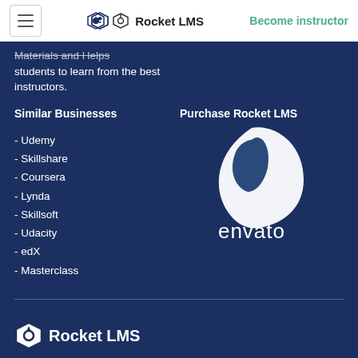Rocket LMS | Become instructor
Materials and Helps students to learn from the best instructors.
Similar Businesses
Purchase Rocket LMS
- Udemy
- Skillshare
- Coursera
- Lynda
- Skillsoft
- Udacity
- edX
- Masterclass
[Figure (logo): Envato logo: white leaf/flame shape above the word 'envato' in white text on dark blue background]
Rocket LMS